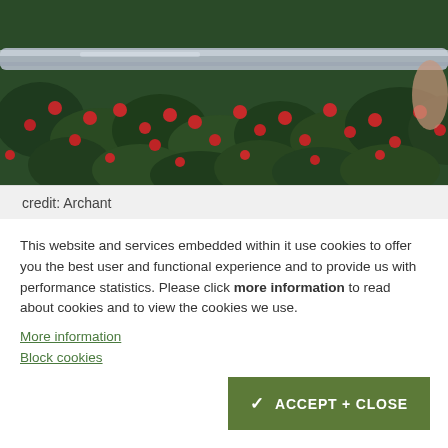[Figure (photo): Close-up photo of green shrubs with red berries, with a metal railing or bar running diagonally across the top portion of the image.]
credit: Archant
This website and services embedded within it use cookies to offer you the best user and functional experience and to provide us with performance statistics. Please click more information to read about cookies and to view the cookies we use.
More information
Block cookies